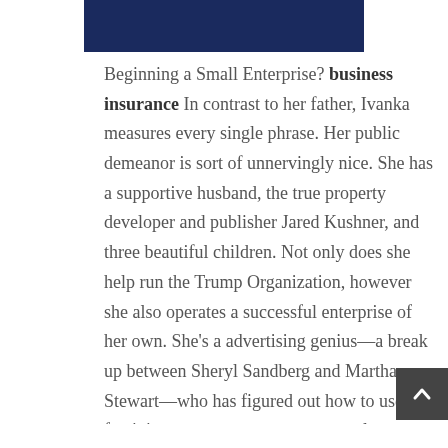[Figure (photo): Dark navy blue rectangle image banner at the top center of the page]
Beginning a Small Enterprise? business insurance In contrast to her father, Ivanka measures every single phrase. Her public demeanor is sort of unnervingly nice. She has a supportive husband, the true property developer and publisher Jared Kushner, and three beautiful children. Not only does she help run the Trump Organization, however she also operates a successful enterprise of her own. She's a advertising genius—a break up between Sheryl Sandberg and Martha Stewart—who has figured out how to use feminine empowerment to promote lace crop tops and floral printed luggage. On her website, she provides career advice to women, together with recipes and vogue ideas, and on her highly trafficked social media channels, she favors aspirational quotes like begin day-after-day.   Read more